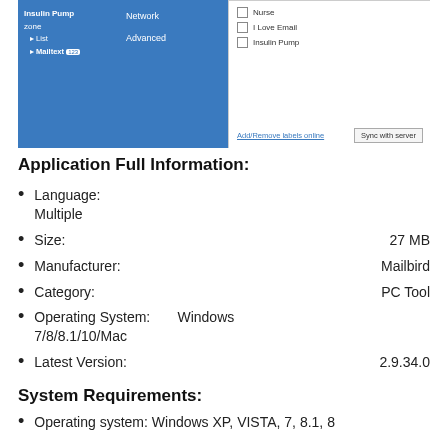[Figure (screenshot): Screenshot of an email application (Mailbird) showing left panel with Insulin Pump label, Network and Advanced options in middle panel, and a labels/checkboxes panel on right with options: Nurse, I Love Email, Insulin Pump, and Add/Remove labels online and Sync with server buttons.]
Application Full Information:
Language: Multiple
Size: 27 MB
Manufacturer: Mailbird
Category: PC Tool
Operating System: Windows 7/8/8.1/10/Mac
Latest Version: 2.9.34.0
System Requirements:
Operating system: Windows XP, VISTA, 7, 8.1, 8...